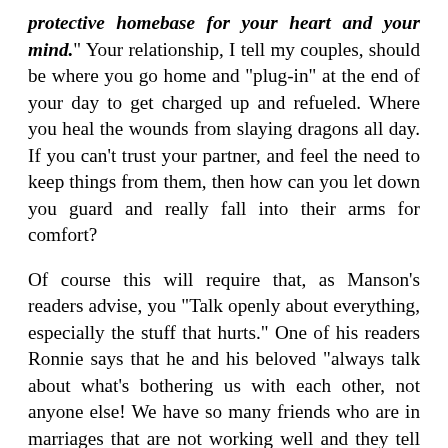protective homebase for your heart and your mind." Your relationship, I tell my couples, should be where you go home and "plug-in" at the end of your day to get charged up and refueled. Where you heal the wounds from slaying dragons all day. If you can't trust your partner, and feel the need to keep things from them, then how can you let down you guard and really fall into their arms for comfort?
Of course this will require that, as Manson's readers advise, you "Talk openly about everything, especially the stuff that hurts." One of his readers Ronnie says that he and his beloved "always talk about what's bothering us with each other, not anyone else! We have so many friends who are in marriages that are not working well and they tell me all about what is wrong. I can't help them, they need to be talking to their spouse about this, that's the only person who